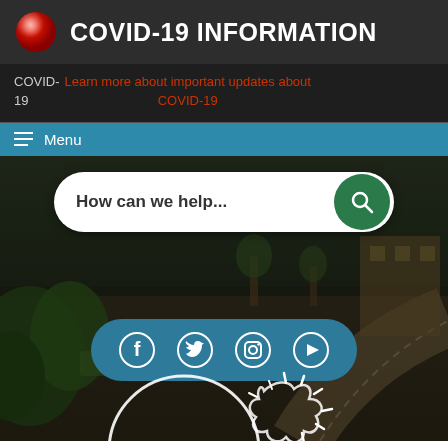COVID-19 INFORMATION
COVID-19 Learn more about important updates about COVID-19
Menu
[Figure (screenshot): City government website homepage with search bar 'How can we help...', social media icons (Facebook, Twitter, Instagram, YouTube), and a COVID-19 illustration overlay on a park/street background photo]
How can we help...